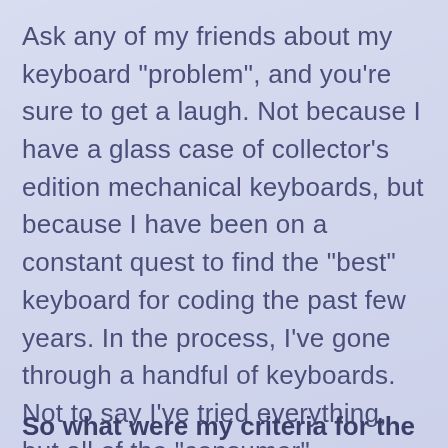Ask any of my friends about my keyboard "problem", and you're sure to get a laugh. Not because I have a glass case of collector's edition mechanical keyboards, but because I have been on a constant quest to find the "best" keyboard for coding the past few years. In the process, I've gone through a handful of keyboards. Not to say I've tried everything, but all of the "consumer" keyboards I tried weren't "it", so I did something drastic...
So what were my criteria for the